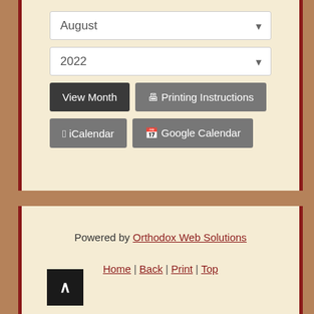August (dropdown)
2022 (dropdown)
View Month
Printing Instructions
iCalendar
Google Calendar
Powered by Orthodox Web Solutions
Home | Back | Print | Top